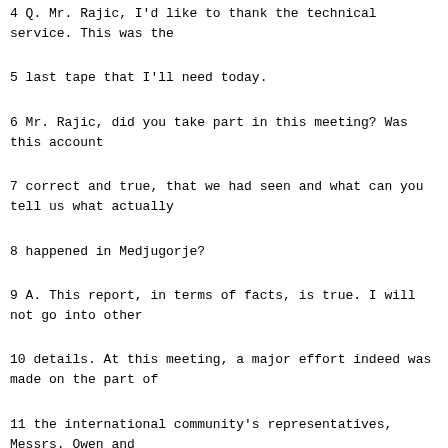service. This was the
5 last tape that I'll need today.
6 Mr. Rajic, did you take part in this meeting? Was this account
7 correct and true, that we had seen and what can you tell us what actually
8 happened in Medjugorje?
9 A. This report, in terms of facts, is true. I will not go into other
10 details. At this meeting, a major effort indeed was made on the part of
11 the international community's representatives, Messrs. Owen and
12 Stoltenberg, as well as Presidents Tudjman and Izetbegovic, Boban and
13 others, to stop the clashes between the Muslims and the Croats, to
14 recognise the common interests, and in that sense, I think this was a fair
15 recount.